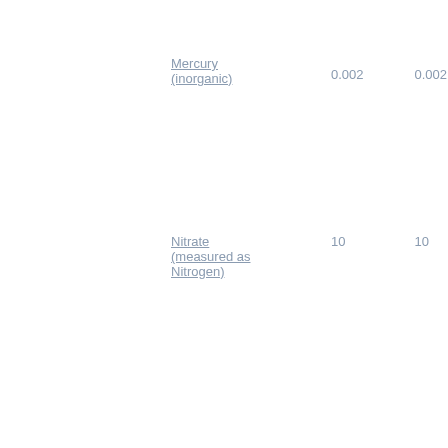| Contaminant | Value1 | Value2 |
| --- | --- | --- |
| Mercury (inorganic) | 0.002 | 0.002 |
| Nitrate (measured as Nitrogen) | 10 | 10 |